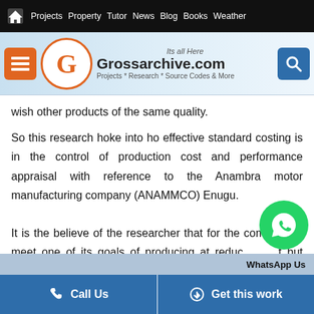Home Projects Property Tutor News Blog Books Weather
[Figure (logo): Grossarchive.com logo with tagline 'Its all Here' and subtitle 'Projects * Research * Source Codes & More']
wish other products of the same quality.
So this research hoke into ho effective standard costing is in the control of production cost and performance appraisal with reference to the Anambra motor manufacturing company (ANAMMCO) Enugu.
It is the believe of the researcher that for the company to meet one of its goals of producing at reduced but consistent quality for customers satrafaction. It
WhatsApp Us  Call Us  Get this work